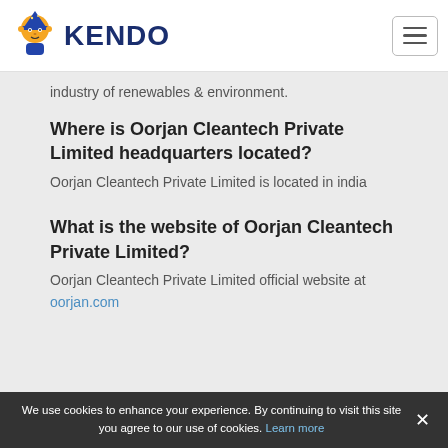KENDO
industry of renewables & environment.
Where is Oorjan Cleantech Private Limited headquarters located?
Oorjan Cleantech Private Limited is located in india
What is the website of Oorjan Cleantech Private Limited?
Oorjan Cleantech Private Limited official website at oorjan.com
Other companies
nayteca
We use cookies to enhance your experience. By continuing to visit this site you agree to our use of cookies. Learn more